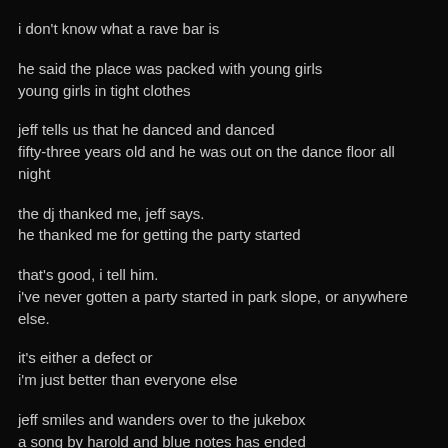i don't know what a rave bar is
he said the place was packed with young girls
young girls in tight clothes
jeff tells us that he danced and danced
fifty-three years old and he was out on the dance floor all night
the dj thanked me, jeff says.
he thanked me for getting the party started
that's good, i tell him.
i've never gotten a party started in park slope, or anywhere else.
it's either a defect or
i'm just better than everyone else
jeff smiles and wanders over to the jukebox
a song by harold and blue notes has ended
our tribute to teddy pendergrass